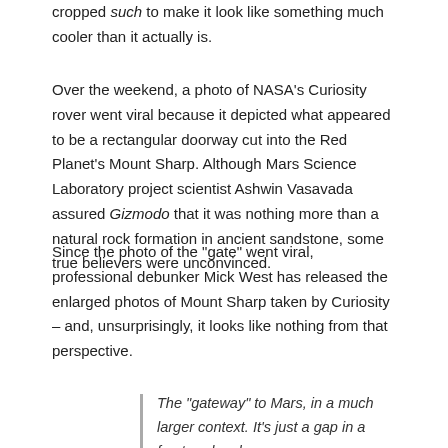cropped such to make it look like something much cooler than it actually is.
Over the weekend, a photo of NASA’s Curiosity rover went viral because it depicted what appeared to be a rectangular doorway cut into the Red Planet’s Mount Sharp. Although Mars Science Laboratory project scientist Ashwin Vasavada assured Gizmodo that it was nothing more than a natural rock formation in ancient sandstone, some true believers were unconvinced.
Since the photo of the “gate” went viral, professional debunker Mick West has released the enlarged photos of Mount Sharp taken by Curiosity – and, unsurprisingly, it looks like nothing from that perspective.
The “gateway” to Mars, in a much larger context. It’s just a gap in a fractured rock